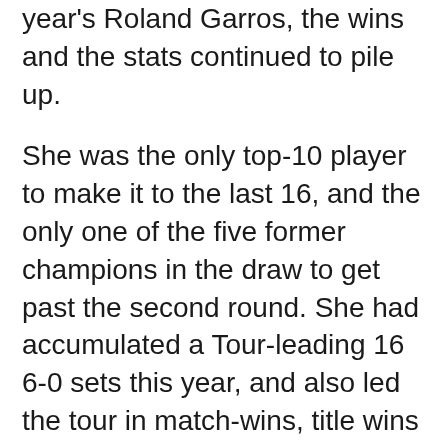year's Roland Garros, the wins and the stats continued to pile up.
She was the only top-10 player to make it to the last 16, and the only one of the five former champions in the draw to get past the second round. She had accumulated a Tour-leading 16 6-0 sets this year, and also led the tour in match-wins, title wins and in the fewest games dropped en route to a title, the Rome 1000.
And she only turned 21 two days ago.
Come the final four who took to Court Philippe Chatrier on semi-final Thursday, though, there was plenty to shout about for the other three